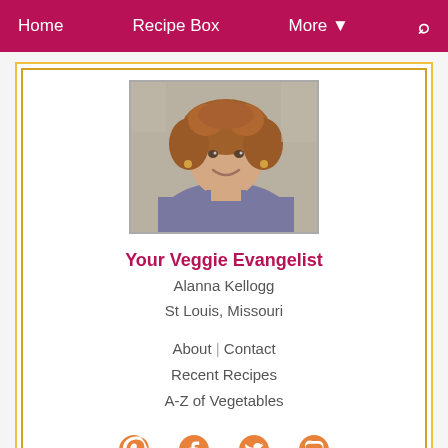Home  Recipe Box  More ▾  🔍
[Figure (photo): Profile photo of Alanna Kellogg, a woman with curly reddish-brown hair, smiling, wearing a gray cardigan, outdoors]
Your Veggie Evangelist
Alanna Kellogg
St Louis, Missouri
About | Contact
Recent Recipes
A-Z of Vegetables
[Figure (infographic): Social media icons: Pinterest, Facebook, Twitter, Instagram]
Recipe Box